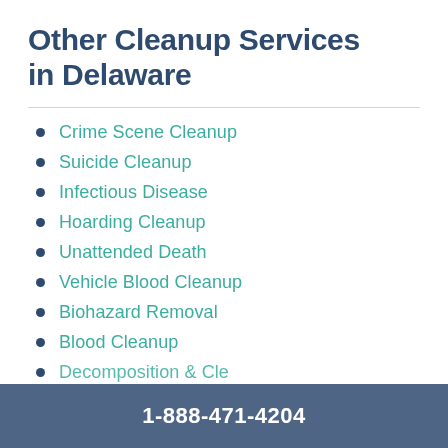Other Cleanup Services in Delaware
Crime Scene Cleanup
Suicide Cleanup
Infectious Disease
Hoarding Cleanup
Unattended Death
Vehicle Blood Cleanup
Biohazard Removal
Blood Cleanup
Decomposition & Cle…
1-888-471-4204